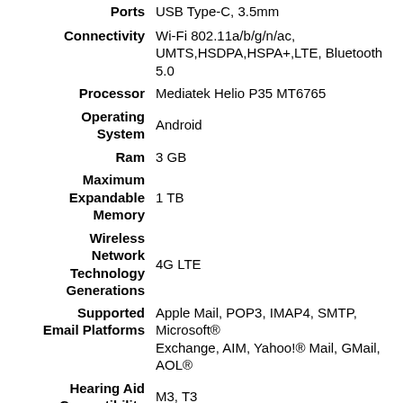| Attribute | Value |
| --- | --- |
| Ports | USB Type-C, 3.5mm |
| Connectivity | Wi-Fi 802.11a/b/g/n/ac, UMTS,HSDPA,HSPA+,LTE, Bluetooth 5.0 |
| Processor | Mediatek Helio P35 MT6765 |
| Operating System | Android |
| Ram | 3 GB |
| Maximum Expandable Memory | 1 TB |
| Wireless Network Technology Generations | 4G LTE |
| Supported Email Platforms | Apple Mail, POP3, IMAP4, SMTP, Microsoft® Exchange, AIM, Yahoo!® Mail, GMail, AOL® |
| Hearing Aid Compatibility | M3, T3 |
| WEA Capable | true |
| Mobile Hotspot Capable | true |
|  | GSM: 850 MHz, 900 MHz, 1800 MHz, 1900 MHz; LTE: 2, 4, 5, 12, 66, 71; LTE Roaming: 1, |